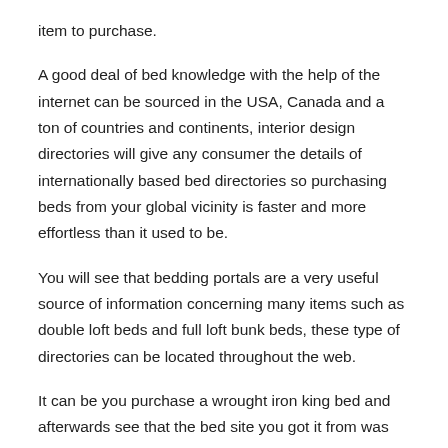item to purchase.
A good deal of bed knowledge with the help of the internet can be sourced in the USA, Canada and a ton of countries and continents, interior design directories will give any consumer the details of internationally based bed directories so purchasing beds from your global vicinity is faster and more effortless than it used to be.
You will see that bedding portals are a very useful source of information concerning many items such as double loft beds and full loft bunk beds, these type of directories can be located throughout the web.
It can be you purchase a wrought iron king bed and afterwards see that the bed site you got it from was not supplying it at the lowest price, to be confident that this never happens another time try to make sure you make an online price comparison or check out a decent mutlitude of bed online outlets first, it could be a twin size